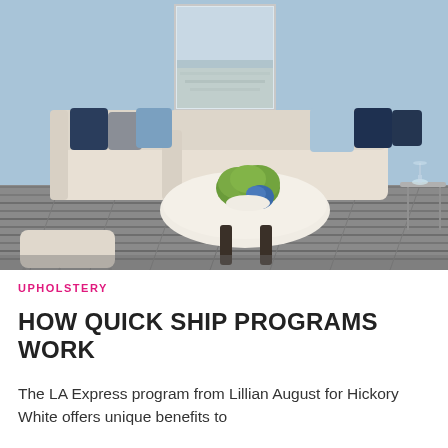[Figure (photo): Interior living room scene with a cream/white sectional sofa decorated with navy blue, grey, and light blue throw pillows. A white oval coffee table sits in the center with a green plant arrangement and a blue floral decoration. A small upholstered ottoman/bench is in the foreground on the left. The floor is grey wood-plank hardwood. The walls are painted light blue. A large abstract seascape painting hangs on the back wall. A small metal side table with a wine glass is on the right.]
UPHOLSTERY
HOW QUICK SHIP PROGRAMS WORK
The LA Express program from Lillian August for Hickory White offers unique benefits to